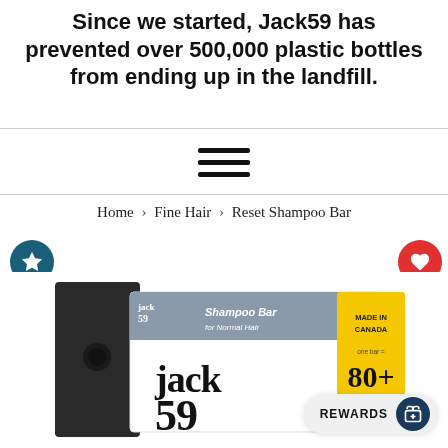Since we started, Jack59 has prevented over 500,000 plastic bottles from ending up in the landfill.
[Figure (screenshot): Hamburger menu icon (three horizontal lines)]
Home > Fine Hair > Reset Shampoo Bar
[Figure (photo): Jack59 Reset Shampoo Bar product box with yellow 'Made in Canada' and '80+ washes' label]